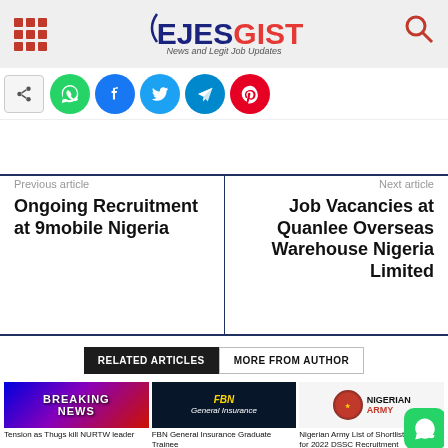EJESGIST — News and Legit Job Updates
[Figure (screenshot): Social sharing bar with WhatsApp, Facebook, Twitter, Telegram, Pinterest icons]
Previous article
Ongoing Recruitment at 9mobile Nigeria
Next article
Job Vacancies at Quanlee Overseas Warehouse Nigeria Limited
RELATED ARTICLES   MORE FROM AUTHOR
[Figure (photo): Breaking News banner with purple/blue/red gradient background]
Tension as Thugs kill NURTW leader
[Figure (logo): FBN General Insurance logo on dark background]
FBN General Insurance Graduate Trainee
[Figure (logo): Nigerian Army logo with red circle emblem and text NIGERIAN ARMY]
Nigerian Army List of Shortlisted Candidates for 2022 DSSC Recruitment